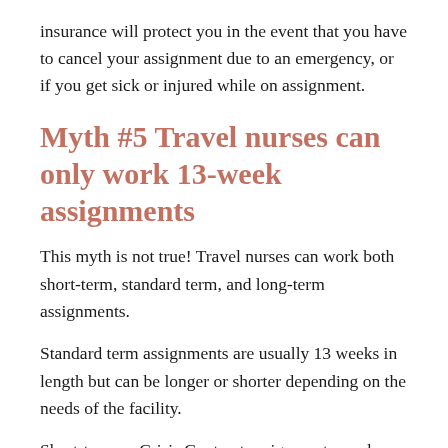insurance will protect you in the event that you have to cancel your assignment due to an emergency, or if you get sick or injured while on assignment.
Myth #5 Travel nurses can only work 13-week assignments
This myth is not true! Travel nurses can work both short-term, standard term, and long-term assignments.
Standard term assignments are usually 13 weeks in length but can be longer or shorter depending on the needs of the facility.
Short-term or Crisis Contract assignments can be as short as one week or as long as 13 weeks.